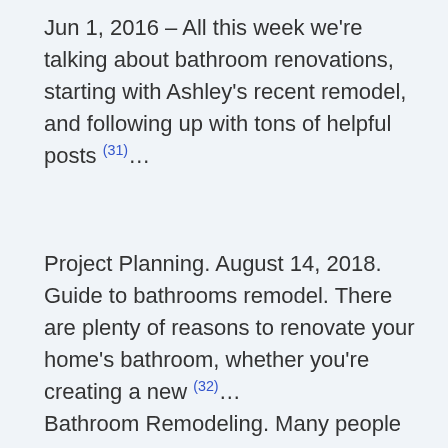Jun 1, 2016 – All this week we're talking about bathroom renovations, starting with Ashley's recent remodel, and following up with tons of helpful posts (31)…
Project Planning. August 14, 2018. Guide to bathrooms remodel. There are plenty of reasons to renovate your home's bathroom, whether you're creating a new (32)…
Bathroom Remodeling. Many people